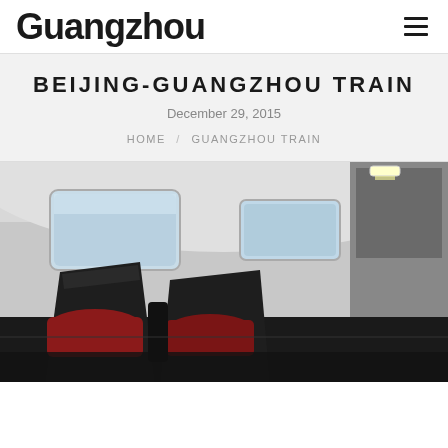Guangzhou
BEIJING-GUANGZHOU TRAIN
December 29, 2015
HOME / GUANGZHOU TRAIN
[Figure (photo): Interior of a high-speed train business class cabin showing reclinable seats with red leather upholstery, large windows with natural light, and modern overhead lighting]